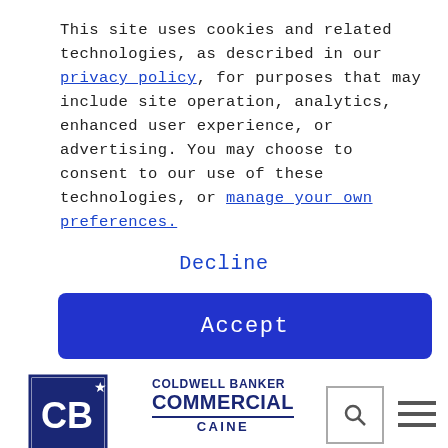This site uses cookies and related technologies, as described in our privacy policy, for purposes that may include site operation, analytics, enhanced user experience, or advertising. You may choose to consent to our use of these technologies, or manage your own preferences.
Decline
Accept
[Figure (logo): Coldwell Banker Commercial Caine logo with CB monogram in a square border with star]
32 Properties Found
✕ CLEAR
FILTERS